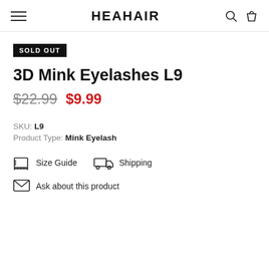HEAHAIR
SOLD OUT
3D Mink Eyelashes L9
$22.99 $9.99
SKU: L9
Product Type: Mink Eyelash
Size Guide   Shipping
Ask about this product